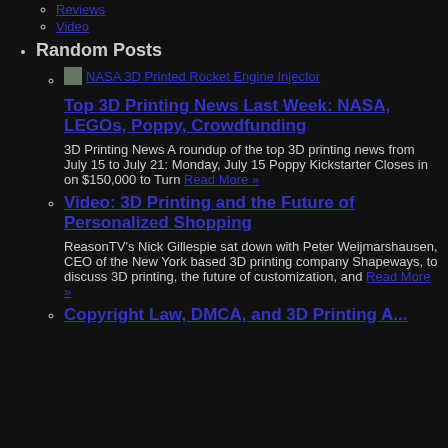Reviews
Video
Random Posts
[Figure (photo): Small thumbnail image for NASA 3D Printed Rocket Engine Injector article]
NASA 3D Printed Rocket Engine Injector (link)
Top 3D Printing News Last Week: NASA, LEGOs, Poppy, Crowdfunding
3D Printing News A roundup of the top 3D printing news from July 15 to July 21: Monday, July 15 Poppy Kickstarter Closes in on $150,000 to Turn Read More »
Video: 3D Printing and the Future of Personalized Shopping
ReasonTV's Nick Gillespie sat down with Peter Weijmarshausen, CEO of the New York based 3D printing company Shapeways, to discuss 3D printing, the future of customization, and Read More »
Copyright Law, DMCA, and 3D Printing A...